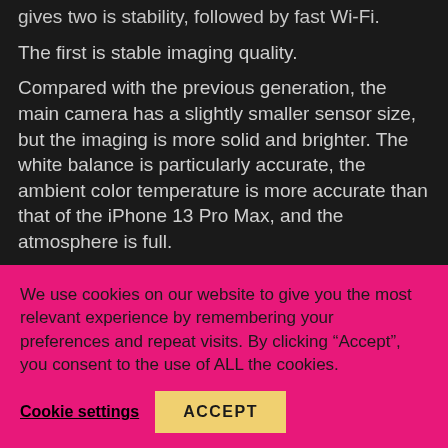gives two is stability, followed by fast Wi-Fi.
The first is stable imaging quality.
Compared with the previous generation, the main camera has a slightly smaller sensor size, but the imaging is more solid and brighter. The white balance is particularly accurate, the ambient color temperature is more accurate than that of the iPhone 13 Pro Max, and the atmosphere is full.
We use cookies on our website to give you the most relevant experience by remembering your preferences and repeat visits. By clicking “Accept”, you consent to the use of ALL the cookies.
Cookie settings
ACCEPT